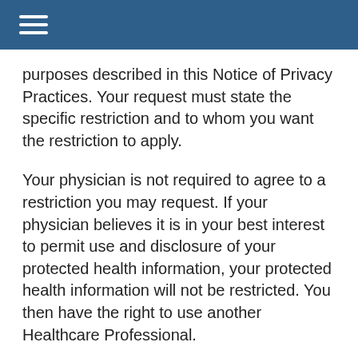☰
purposes described in this Notice of Privacy Practices. Your request must state the specific restriction and to whom you want the restriction to apply.
Your physician is not required to agree to a restriction you may request. If your physician believes it is in your best interest to permit use and disclosure of your protected health information, your protected health information will not be restricted. You then have the right to use another Healthcare Professional.
have the right to request to receive confidential communications from us by